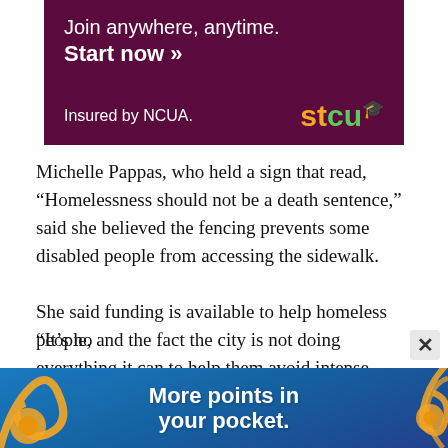[Figure (infographic): STCU advertisement banner with dark maroon background. Text reads 'Join anywhere, anytime.' and 'Start now >>' in white, with 'Insured by NCUA.' and the STCU logo in orange and green.]
Michelle Pappas, who held a sign that read, “Homelessness should not be a death sentence,” said she believed the fencing prevents some disabled people from accessing the sidewalk.
She said funding is available to help homeless people, and the fact the city is not doing everything it can to help them avoid intense trauma associated with homelessness is frustrating.
“It’s no…
[Figure (infographic): Advertisement banner with blue background and decorative orange/yellow swirls. Bold white text reads 'More points in your pocket.']
× close button